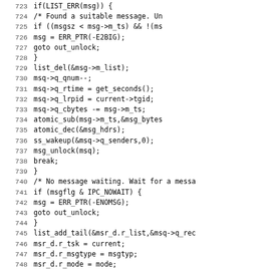Source code listing, lines 723-755, showing Linux kernel message queue receive function (msgrcv). Includes message selection, list operations, atomic operations, and wait queue management.